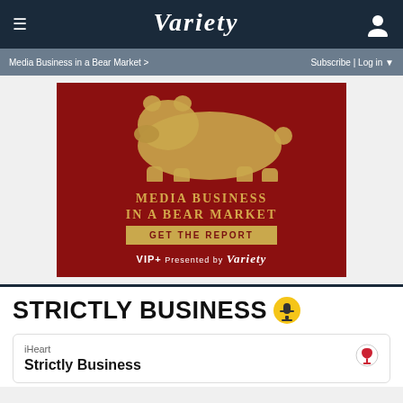VARIETY — navigation bar with hamburger menu and user icon
Media Business in a Bear Market >    Subscribe | Log in ▼
[Figure (illustration): Advertisement for Variety VIP+ report 'Media Business in a Bear Market' with a golden bear illustration on dark red background, 'GET THE REPORT' button, 'VIP+ Presented by Variety' tagline]
STRICTLY BUSINESS 🎙
iHeart
Strictly Business